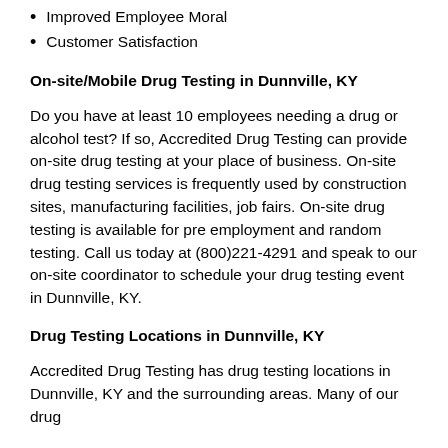Improved Employee Moral
Customer Satisfaction
On-site/Mobile Drug Testing in Dunnville, KY
Do you have at least 10 employees needing a drug or alcohol test? If so, Accredited Drug Testing can provide on-site drug testing at your place of business. On-site drug testing services is frequently used by construction sites, manufacturing facilities, job fairs. On-site drug testing is available for pre employment and random testing. Call us today at (800)221-4291 and speak to our on-site coordinator to schedule your drug testing event in Dunnville, KY.
Drug Testing Locations in Dunnville, KY
Accredited Drug Testing has drug testing locations in Dunnville, KY and the surrounding areas. Many of our drug